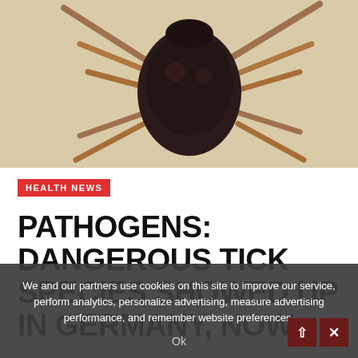[Figure (photo): Close-up photograph of a tick (dorsal view) with legs spread out on a sandy/beige textured surface. The tick body is dark/black and the legs are reddish-brown. Only upper portion of tick visible.]
HEALTH NEWS
PATHOGENS: DANGEROUS TICK SPECIES SHOWED UP IN GERMANY, NOW
We and our partners use cookies on this site to improve our service, perform analytics, personalize advertising, measure advertising performance, and remember website preferences.
Ok